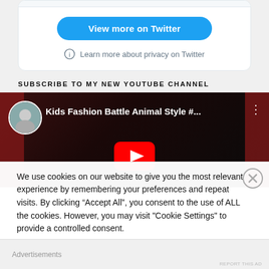[Figure (screenshot): Twitter embed card with 'View more on Twitter' button and privacy link]
SUBSCRIBE TO MY NEW YOUTUBE CHANNEL
[Figure (screenshot): YouTube video thumbnail showing 'Kids Fashion Battle Animal Style #...' with play button and three-dot menu]
We use cookies on our website to give you the most relevant experience by remembering your preferences and repeat visits. By clicking “Accept All”, you consent to the use of ALL the cookies. However, you may visit "Cookie Settings" to provide a controlled consent.
Advertisements